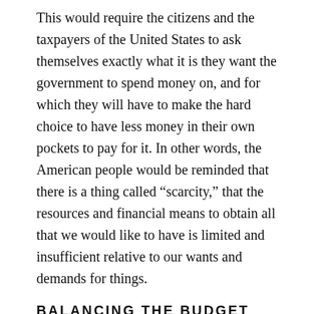This would require the citizens and the taxpayers of the United States to ask themselves exactly what it is they want the government to spend money on, and for which they will have to make the hard choice to have less money in their own pockets to pay for it. In other words, the American people would be reminded that there is a thing called “scarcity,” that the resources and financial means to obtain all that we would like to have is limited and insufficient relative to our wants and demands for things.
BALANCING THE BUDGET MEANS ACCEPTING TRADE-OFFS
We each make such trade-offs and hard